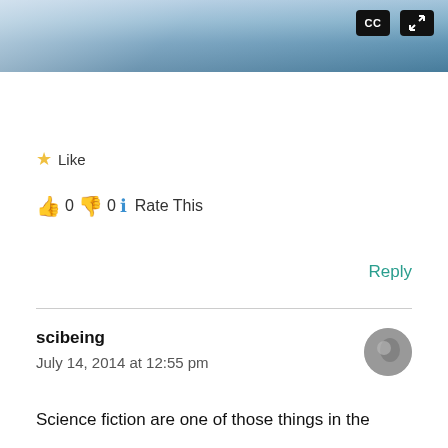[Figure (screenshot): Video player screenshot showing aerial/satellite view of Earth with clouds, with CC and fullscreen buttons in top-right corner]
★ Like
👍 0 👎 0 ℹ Rate This
Reply
scibeing
July 14, 2014 at 12:55 pm
Science fiction are one of those things in the